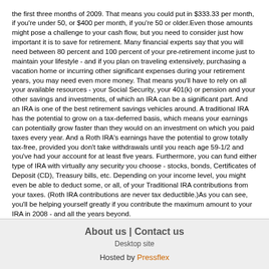the first three months of 2009. That means you could put in $333.33 per month, if you're under 50, or $400 per month, if you're 50 or older.Even those amounts might pose a challenge to your cash flow, but you need to consider just how important it is to save for retirement. Many financial experts say that you will need between 80 percent and 100 percent of your pre-retirement income just to maintain your lifestyle - and if you plan on traveling extensively, purchasing a vacation home or incurring other significant expenses during your retirement years, you may need even more money. That means you'll have to rely on all your available resources - your Social Security, your 401(k) or pension and your other savings and investments, of which an IRA can be a significant part. And an IRA is one of the best retirement savings vehicles around. A traditional IRA has the potential to grow on a tax-deferred basis, which means your earnings can potentially grow faster than they would on an investment on which you paid taxes every year. And a Roth IRA's earnings have the potential to grow totally tax-free, provided you don't take withdrawals until you reach age 59-1/2 and you've had your account for at least five years. Furthermore, you can fund either type of IRA with virtually any security you choose - stocks, bonds, Certificates of Deposit (CD), Treasury bills, etc. Depending on your income level, you might even be able to deduct some, or all, of your Traditional IRA contributions from your taxes. (Roth IRA contributions are never tax deductible.)As you can see, you'll be helping yourself greatly if you contribute the maximum amount to your IRA in 2008 - and all the years beyond.
About us | Contact us
Desktop site
Hosted by Pressflex